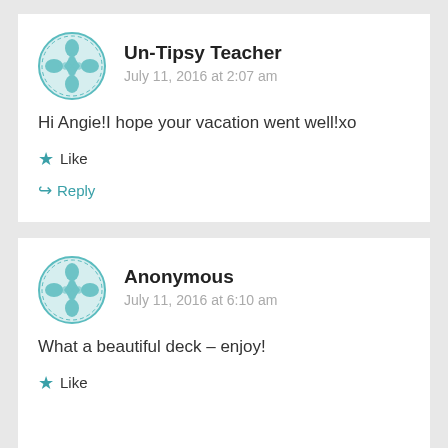Un-Tipsy Teacher
July 11, 2016 at 2:07 am
Hi Angie!I hope your vacation went well!xo
Like
Reply
Anonymous
July 11, 2016 at 6:10 am
What a beautiful deck – enjoy!
Like